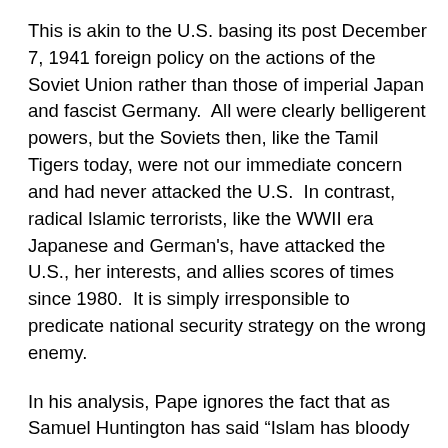This is akin to the U.S. basing its post December 7, 1941 foreign policy on the actions of the Soviet Union rather than those of imperial Japan and fascist Germany.  All were clearly belligerent powers, but the Soviets then, like the Tamil Tigers today, were not our immediate concern and had never attacked the U.S.  In contrast, radical Islamic terrorists, like the WWII era Japanese and German's, have attacked the U.S., her interests, and allies scores of times since 1980.  It is simply irresponsible to predicate national security strategy on the wrong enemy.
In his analysis, Pape ignores the fact that as Samuel Huntington has said “Islam has bloody borders.”[vi]  The primary motivating factor that encourages Islamic terrorism is Islam itself.  Their goal is not merely “the expulsion of American troops from the Persian Gulf,”[vii]